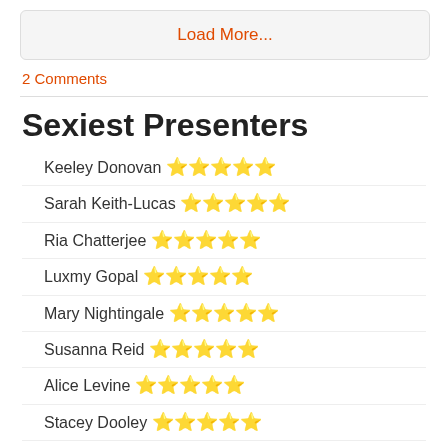Load More...
2 Comments
Sexiest Presenters
Keeley Donovan ⭐⭐⭐⭐⭐
Sarah Keith-Lucas ⭐⭐⭐⭐⭐
Ria Chatterjee ⭐⭐⭐⭐⭐
Luxmy Gopal ⭐⭐⭐⭐⭐
Mary Nightingale ⭐⭐⭐⭐⭐
Susanna Reid ⭐⭐⭐⭐⭐
Alice Levine ⭐⭐⭐⭐⭐
Stacey Dooley ⭐⭐⭐⭐⭐
Victoria Fritz ⭐⭐⭐⭐⭐